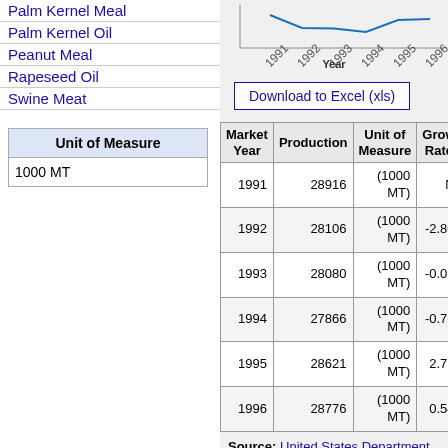Palm Kernel Meal
Palm Kernel Oil
Peanut Meal
Rapeseed Oil
Swine Meat
| Unit of Measure |
| --- |
| 1000 MT |
[Figure (line-chart): Year]
Download to Excel (xls)
| Market Year | Production | Unit of Measure | Growth Rate |
| --- | --- | --- | --- |
| 1991 | 28916 | (1000 MT) | N |
| 1992 | 28106 | (1000 MT) | -2.80 |
| 1993 | 28080 | (1000 MT) | -0.09 |
| 1994 | 27866 | (1000 MT) | -0.76 |
| 1995 | 28621 | (1000 MT) | 2.71 |
| 1996 | 28776 | (1000 MT) | 0.54 |
Source: United States Department of Agriculture
See also: Commodity prices